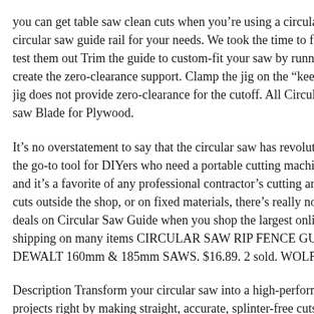you can get table saw clean cuts when you're using a circular saw pr circular saw guide rail for your needs. We took the time to figure out test them out Trim the guide to custom-fit your saw by running the fo create the zero-clearance support. Clamp the jig on the "keeper" piec jig does not provide zero-clearance for the cutoff. All Circular Saws saw Blade for Plywood.
It's no overstatement to say that the circular saw has revolutionized m the go-to tool for DIYers who need a portable cutting machine to han and it's a favorite of any professional contractor's cutting arsenal. W cuts outside the shop, or on fixed materials, there's really nothing bet deals on Circular Saw Guide when you shop the largest online select shipping on many items CIRCULAR SAW RIP FENCE GUIDE – S DEWALT 160mm & 185mm SAWS. $16.89. 2 sold. WOLFCRAFT
Description Transform your circular saw into a high-performance, tra projects right by making straight, accurate, splinter-free cuts with yo Cut™ Circular Saw Track Guide. Jan 23, 2018 · One of the best tools SPJ6000J1 612inch Plunge Circular Saw with Guide Rail is a power